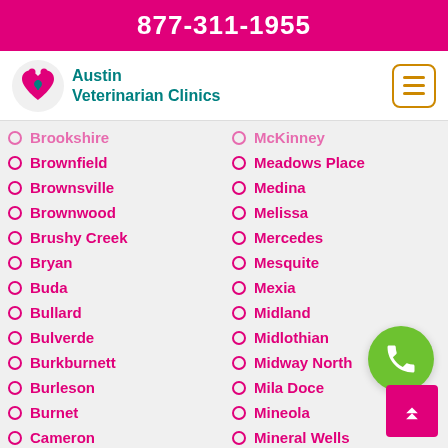877-311-1955
[Figure (logo): Austin Veterinarian Clinics logo with heart and paw print]
Brookshire
McKinney
Brownfield
Meadows Place
Brownsville
Medina
Brownwood
Melissa
Brushy Creek
Mercedes
Bryan
Mesquite
Buda
Mexia
Bullard
Midland
Bulverde
Midlothian
Burkburnett
Midway North
Burleson
Mila Doce
Burnet
Mineola
Cameron
Mineral Wells